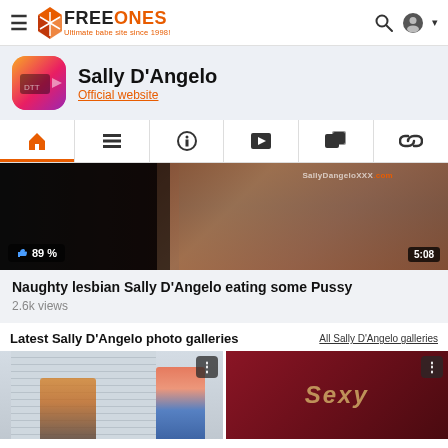FreeOnes – Ultimate babe site since 1998!
Sally D'Angelo
Official website
[Figure (screenshot): Navigation tabs with icons: home (active, orange), list, info, video, photo gallery, link]
[Figure (photo): Video thumbnail showing adult content, 89% like rating, watermark SallyDangeloXXX.com, duration 5:08]
Naughty lesbian Sally D'Angelo eating some Pussy
2.6k views
Latest Sally D'Angelo photo galleries
All Sally D'Angelo galleries
[Figure (photo): Photo gallery thumbnail showing a blonde woman in pink top with a bald man]
[Figure (photo): Photo gallery thumbnail with dark red background and 'Sexy' text]